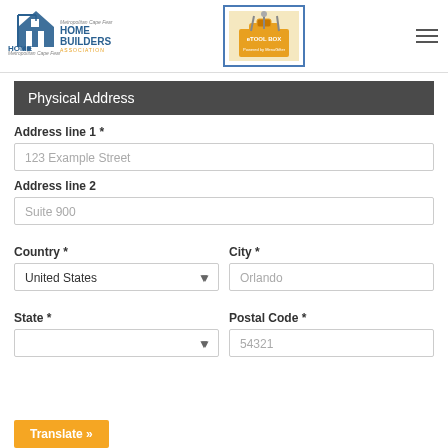[Figure (logo): Home Builders Association logo on left and Tool Box newsletter logo in center, with hamburger menu icon on right]
Physical Address
Address line 1 *
123 Example Street
Address line 2
Suite 900
Country *
City *
United States
Orlando
State *
Postal Code *
54321
Translate »